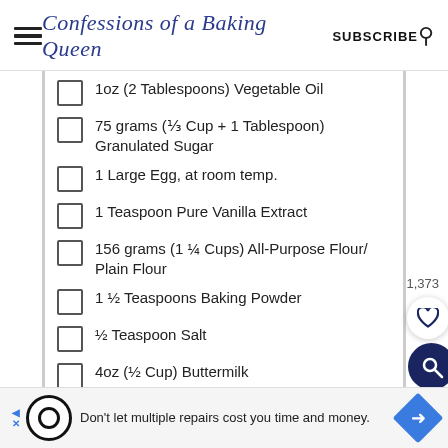Confessions of a Baking Queen | SUBSCRIBE
1oz (2 Tablespoons) Vegetable Oil
75 grams (⅓ Cup + 1 Tablespoon) Granulated Sugar
1 Large Egg, at room temp.
1 Teaspoon Pure Vanilla Extract
156 grams (1 ¼ Cups) All-Purpose Flour/ Plain Flour
1 ½ Teaspoons Baking Powder
½ Teaspoon Salt
4oz (½ Cup) Buttermilk
1,373
Don't let multiple repairs cost you time and money.